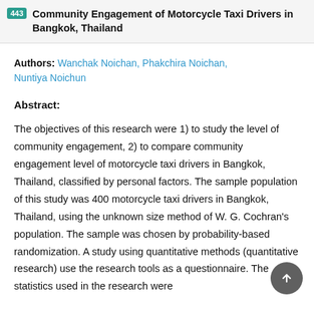443 Community Engagement of Motorcycle Taxi Drivers in Bangkok, Thailand
Authors: Wanchak Noichan, Phakchira Noichan, Nuntiya Noichun
Abstract:
The objectives of this research were 1) to study the level of community engagement, 2) to compare community engagement level of motorcycle taxi drivers in Bangkok, Thailand, classified by personal factors. The sample population of this study was 400 motorcycle taxi drivers in Bangkok, Thailand, using the unknown size method of W. G. Cochran's population. The sample was chosen by probability-based randomization. A study using quantitative methods (quantitative research) use the research tools as a questionnaire. The statistics used in the research were